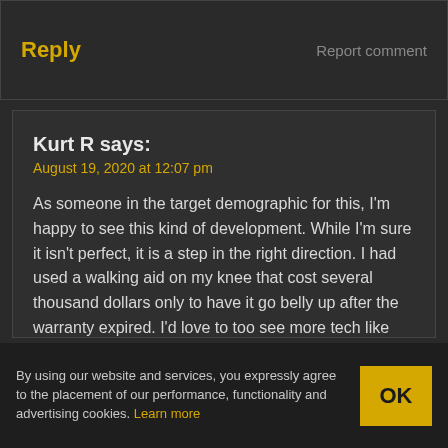Reply
Report comment
Kurt R says:
August 19, 2020 at 12:07 pm
As someone in the target demographic for this, I'm happy to see this kind of development. While I'm sure it isn't perfect, it is a step in the right direction. I had used a walking aid on my knee that cost several thousand dollars only to have it go belly up after the warranty expired. I'd love to too see more tech like this that brings the possibility of improved mobility to more people.
By using our website and services, you expressly agree to the placement of our performance, functionality and advertising cookies. Learn more
OK